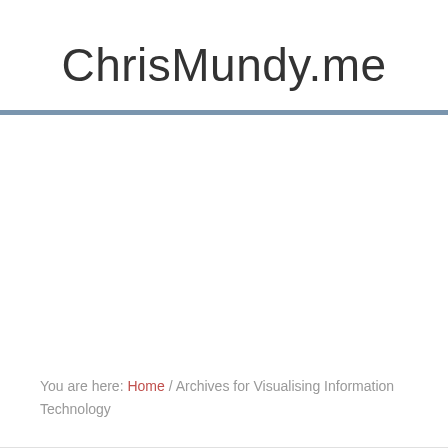ChrisMundy.me
You are here: Home / Archives for Visualising Information Technology